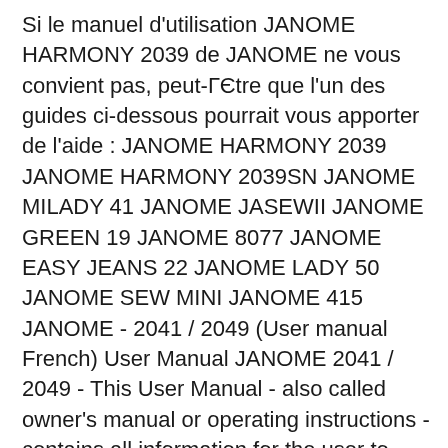Si le manuel d'utilisation JANOME HARMONY 2039 de JANOME ne vous convient pas, peut-ГЄtre que l'un des guides ci-dessous pourrait vous apporter de l'aide : JANOME HARMONY 2039 JANOME HARMONY 2039SN JANOME MILADY 41 JANOME JASEWII JANOME GREEN 19 JANOME 8077 JANOME EASY JEANS 22 JANOME LADY 50 JANOME SEW MINI JANOME 415 JANOME - 2041 / 2049 (User manual French) User Manual JANOME 2041 / 2049 - This User Manual - also called owner's manual or operating instructions - contains all information for the user to make full use of the product. This manual includes a